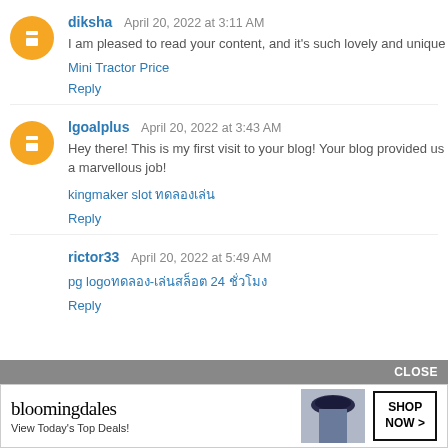diksha  April 20, 2022 at 3:11 AM
I am pleased to read your content, and it's such lovely and unique
Mini Tractor Price
Reply
lgoalplus  April 20, 2022 at 3:43 AM
Hey there! This is my first visit to your blog! Your blog provided us a marvellous job!
kingmaker slot ทดลองเล่น
Reply
rictor33  April 20, 2022 at 5:49 AM
pg logoทดลอง-เล่นสล็อต 24 ชั่วโมง
Reply
[Figure (screenshot): Bloomingdale's advertisement banner with 'View Today's Top Deals!' text and SHOP NOW button, with CLOSE button above]